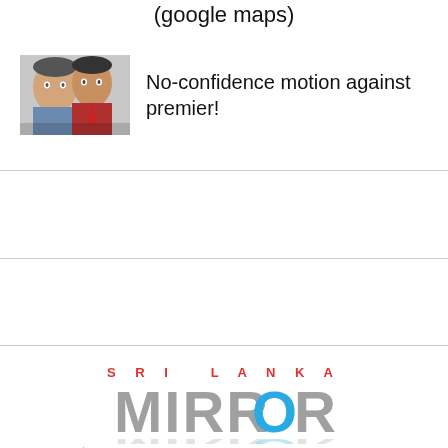(google maps)
[Figure (photo): Two men in suits, news article thumbnail image]
No-confidence motion against premier!
[Figure (logo): Sri Lanka Mirror logo - SRI LANKA in red above MIRROR in grey block letters with a blue O, 24/7 BREAKING NEWS WITH VIEWS tagline below]